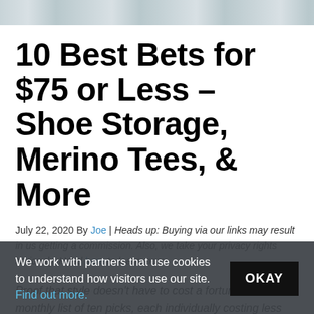[Figure (photo): Partial photo strip at top of page showing an outdoor or architectural scene in muted tones]
10 Best Bets for $75 or Less – Shoe Storage, Merino Tees, & More
July 22, 2020 By Joe | Heads up: Buying via our links may result in us getting a commission. Also, we take your privacy rights seriously. Head here to learn more.
Proof that style doesn't have to cost a fortune. It's our monthly list of ten picks, each individually costing less than seventy five
We work with partners that use cookies to understand how visitors use our site. Find out more.